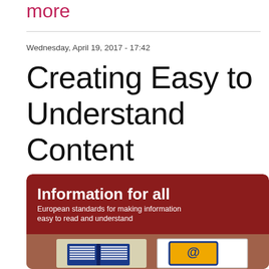more
Wednesday, April 19, 2017 - 17:42
Creating Easy to Understand Content
[Figure (illustration): Book cover illustration: 'Information for all — European standards for making information easy to read and understand', dark red background with white text, brown lower section, illustrated open book and email/at-symbol icons below]